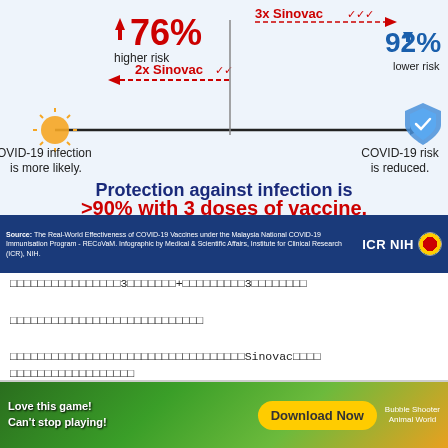[Figure (infographic): COVID-19 vaccine effectiveness infographic. A horizontal arrow points from left (COVID-19 infection is more likely, sun icon) to right (COVID-19 risk is reduced, shield icon). At left: 76% higher risk with 2x Sinovac. At top right: 3x Sinovac with 92% lower risk. Below: 'Protection against infection is >90% with 3 doses of vaccine.' in dark blue and red bold text.]
Source: The Real-World Effectiveness of COVID-19 Vaccines under the Malaysia National COVID-19 Immunisation Program - RECoVaM. Infographic by Medical & Scientific Affairs, Institute for Clinical Research (ICR), NIH.
Thai text line 1: (box characters) 3 (box characters) + (box characters) 3 (box characters)
Thai text line 2: (box characters)
Thai text line 3: (box characters) Sinovac (box characters)
[Figure (infographic): Advertisement banner: 'Love this game! Can't stop playing! Download Now' with colorful game icons and Bubble Shooter Animal World branding.]